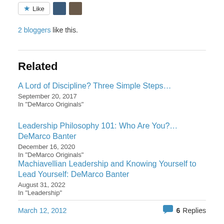[Figure (other): Like button with star icon and two blogger avatar thumbnails]
2 bloggers like this.
Related
A Lord of Discipline? Three Simple Steps…
September 20, 2017
In "DeMarco Originals"
Leadership Philosophy 101: Who Are You?… DeMarco Banter
December 16, 2020
In "DeMarco Originals"
Machiavellian Leadership and Knowing Yourself to Lead Yourself: DeMarco Banter
August 31, 2022
In "Leadership"
March 12, 2012   6 Replies